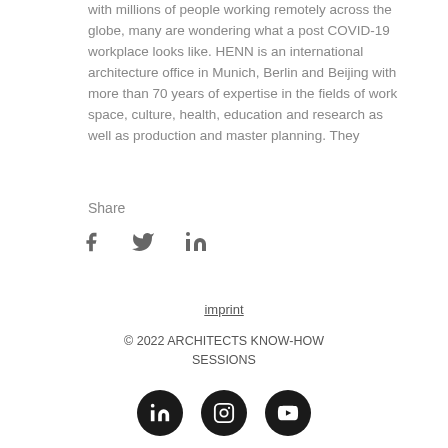with millions of people working remotely across the globe, many are wondering what a post COVID-19 workplace looks like. HENN is an international architecture office in Munich, Berlin and Beijing with more than 70 years of expertise in the fields of work space, culture, health, education and research as well as production and master planning. They
Share
[Figure (infographic): Social share icons: Facebook (f), Twitter (bird), LinkedIn (in)]
imprint
© 2022 ARCHITECTS KNOW-HOW SESSIONS
[Figure (infographic): Three circular black social media icons: LinkedIn (in), Instagram, YouTube]